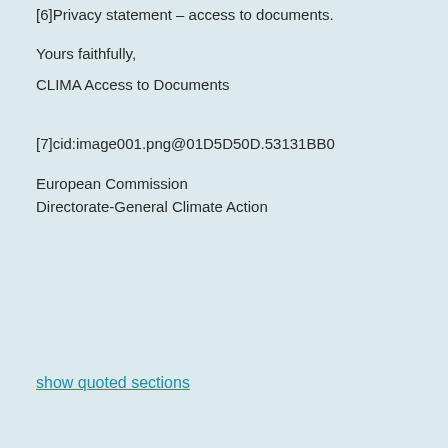[6]Privacy statement – access to documents.
Yours faithfully,
CLIMA Access to Documents
[7]cid:image001.png@01D5D50D.53131BB0
European Commission
Directorate-General Climate Action
show quoted sections